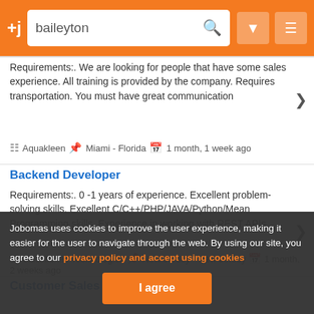+j baileyton [search icon] [filter icon] [menu icon]
Requirements:. We are looking for people that have some sales experience. All training is provided by the company. Requires transportation. You must have great communication
Aquakleen  Miami - Florida  1 month, 1 week ago
Backend Developer
Requirements:. 0 -1 years of experience. Excellent problem-solving skills. Excellent C/C++/PHP/JAVA/Python/Mean Programming skills. Experience in working with REST APIs,
Classboxes Technologies  New Jersey - New Jersey  1 month, 2 weeks ago
Customer Sales Advisor
Requirements: ... Automotive Guest Service ... Previous Tire Sales experience . Position Crite... ork ethic;
Goodyear Tire & Rubber Company  Hanover Park - Illinois
Jobomas uses cookies to improve the user experience, making it easier for the user to navigate through the web. By using our site, you agree to our privacy policy and accept using cookies
I agree